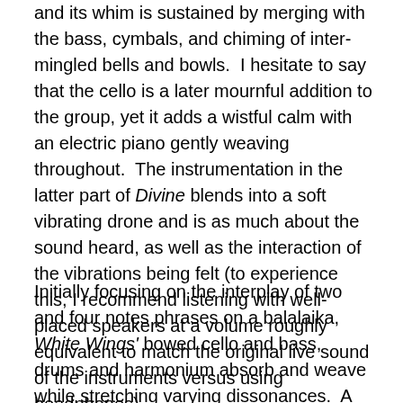and its whim is sustained by merging with the bass, cymbals, and chiming of inter-mingled bells and bowls.  I hesitate to say that the cello is a later mournful addition to the group, yet it adds a wistful calm with an electric piano gently weaving throughout.  The instrumentation in the latter part of Divine blends into a soft vibrating drone and is as much about the sound heard, as well as the interaction of the vibrations being felt (to experience this, I recommend listening with well-placed speakers at a volume roughly equivalent to match the original live sound of the instruments versus using headphones).
Initially focusing on the interplay of two and four notes phrases on a balalaika, White Wings' bowed cello and bass, drums and harmonium absorb and weave while stretching varying dissonances.  A first sonic alignment appears at a little more than two-and-a-half minutes,